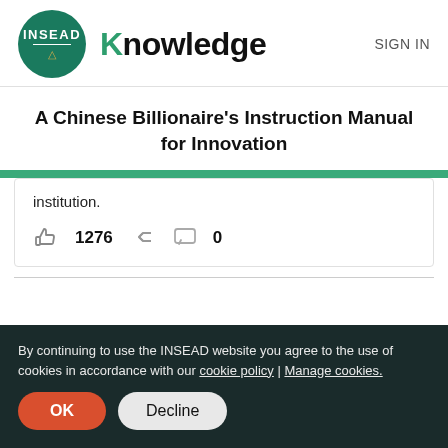INSEAD Knowledge  SIGN IN
A Chinese Billionaire's Instruction Manual for Innovation
institution.
1276  0
By continuing to use the INSEAD website you agree to the use of cookies in accordance with our cookie policy | Manage cookies.